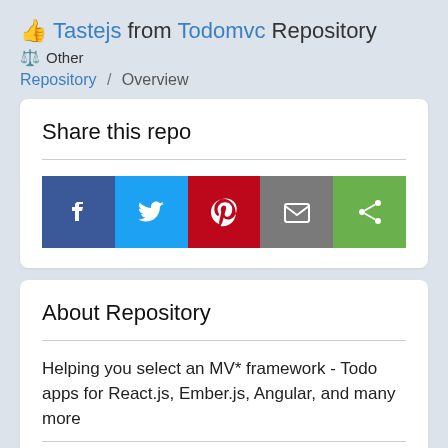👍 Tastejs from Todomvc Repository
⚖️ Other
Repository / Overview
Share this repo
[Figure (other): Social share buttons: Facebook (blue), Twitter (light blue), Pinterest (red), Email (gray), Share (green)]
About Repository
Helping you select an MV* framework - Todo apps for React.js, Ember.js, Angular, and many more
🌐 Language: JavaScript